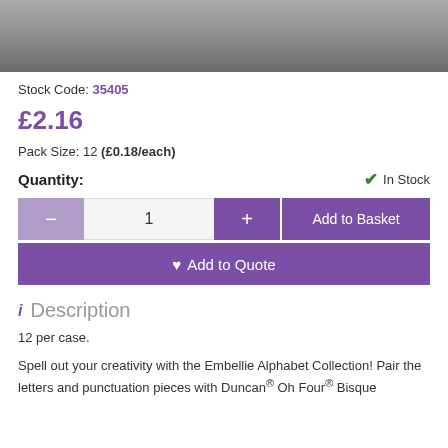[Figure (photo): Product image showing a small decorative item on a dark grey background]
Stock Code: 35405
£2.16
Pack Size: 12 (£0.18/each)
Quantity:
✔ In Stock
— 1 + Add to Basket
♥ Add to Quote
i Description
12 per case.
Spell out your creativity with the Embellie Alphabet Collection! Pair the letters and punctuation pieces with Duncan® Oh Four® Bisque